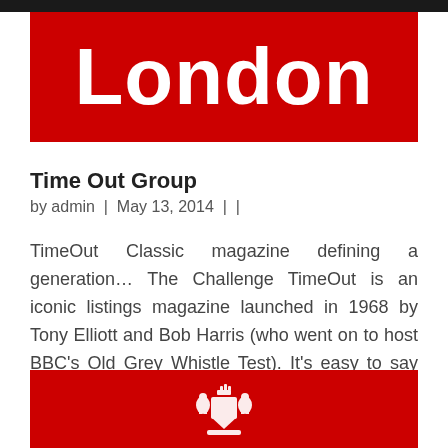London
Time Out Group
by admin  |  May 13, 2014  |  |
TimeOut Classic magazine defining a generation… The Challenge TimeOut is an iconic listings magazine launched in 1968 by Tony Elliott and Bob Harris (who went on to host BBC's Old Grey Whistle Test). It's easy to say that pretty much anyone who grew up,…
[Figure (logo): Red banner with white royal crest/coat of arms emblem at the bottom of the page]